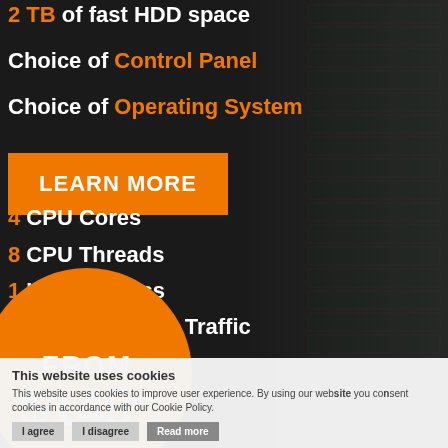2 TB of fast HDD space
Choice of Control Panel
Choice of Operating System
LEARN MORE
4 CPU Cores
8 CPU Threads
1 IPv4 Address
5 TB @ 100MB/s Traffic
Full Root Access
FROM $149.99
This website uses cookies
This website uses cookies to improve user experience. By using our website you consent cookies in accordance with our Cookie Policy.
I agree  I disagree  Read more